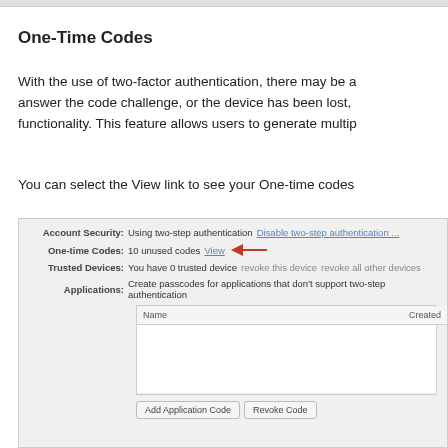One-Time Codes
With the use of two-factor authentication, there may be a answer the code challenge, or the device has been lost, functionality. This feature allows users to generate multip
You can select the View link to see your One-time codes
[Figure (screenshot): Screenshot of Account Security settings showing: Account Security: Using two-step authentication / Disable two-step authentication ..., One-time Codes: 10 unused codes View (with red arrow pointing to View link), Trusted Devices: You have 0 trusted device revoke this device revoke all other devices, Applications: Create passcodes for applications that don't support two-step authentication, followed by a table with columns Name and Created, and buttons Add Application Code and Revoke Code.]